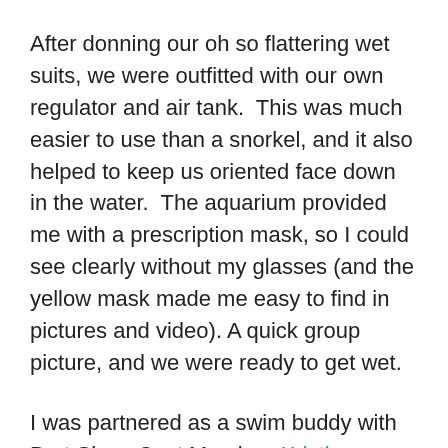After donning our oh so flattering wet suits, we were outfitted with our own regulator and air tank.  This was much easier to use than a snorkel, and it also helped to keep us oriented face down in the water.  The aquarium provided me with a prescription mask, so I could see clearly without my glasses (and the yellow mask made me easy to find in pictures and video). A quick group picture, and we were ready to get wet.
I was partnered as a swim buddy with Bert Show Cast Member, Kristin Klingshirn, who to say it mildly, was a little terrified. As we sat on the edge of the dive dock, we shared a last second look of “are we really doing this?!” and then it was into the water we went.
It took a while to acclimate ourselves to swimming slowly...